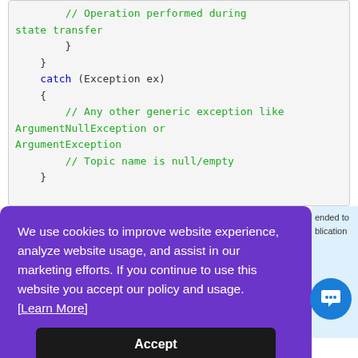[Figure (screenshot): Code block showing C# try-catch snippet with comments in green and keyword 'catch' in blue, on a light gray background]
We use cookies to improve website experience, analyze website usage, and assist in our marketing efforts. If you continue to use this website you accept our policy and usage. [Learn More]
Accept
...ended to ...blication...
Properties of Topic Interface